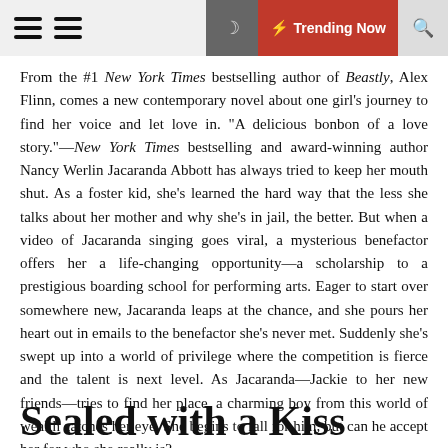Trending Now
From the #1 New York Times bestselling author of Beastly, Alex Flinn, comes a new contemporary novel about one girl's journey to find her voice and let love in. "A delicious bonbon of a love story."—New York Times bestselling and award-winning author Nancy Werlin Jacaranda Abbott has always tried to keep her mouth shut. As a foster kid, she's learned the hard way that the less she talks about her mother and why she's in jail, the better. But when a video of Jacaranda singing goes viral, a mysterious benefactor offers her a life-changing opportunity—a scholarship to a prestigious boarding school for performing arts. Eager to start over somewhere new, Jacaranda leaps at the chance, and she pours her heart out in emails to the benefactor she's never met. Suddenly she's swept up into a world of privilege where the competition is fierce and the talent is next level. As Jacaranda—Jackie to her new friends—tries to find her place, a charming boy from this world of wealth catches her eye. She begins to fall for him, but can he accept her for who she really is?
Sealed with a Kiss